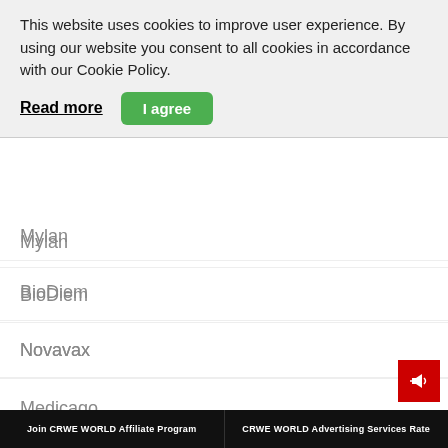This website uses cookies to improve user experience. By using our website you consent to all cookies in accordance with our Cookie Policy.
Read more
I agree
Mylan
BioDiem
Novavax
Medicago
Moderna Inc
Pneumagen
Daiichi-Sankyo
Join CRWE WORLD Affiliate Program | CRWE WORLD Advertising Services Rate